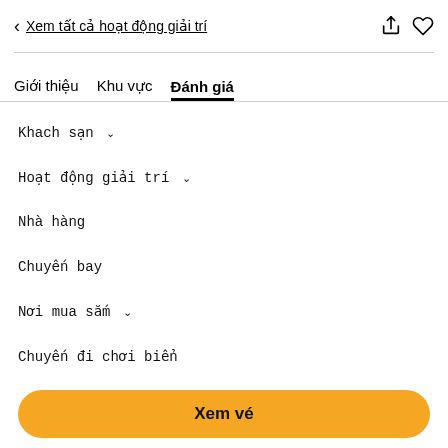< Xem tất cả hoạt động giải trí
Giới thiệu   Khu vực   Đánh giá
Khách sạn ∨
Hoạt động giải trí ∨
Nhà hàng
Chuyến bay
Nơi mua sắm ∨
Chuyến đi chơi biển
Thêm ∨
Xem vé